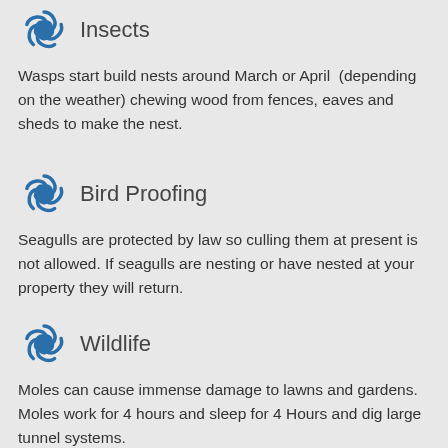Insects
Wasps start build nests around March or April (depending on the weather) chewing wood from fences, eaves and sheds to make the nest.
Bird Proofing
Seagulls are protected by law so culling them at present is not allowed. If seagulls are nesting or have nested at your property they will return.
Wildlife
Moles can cause immense damage to lawns and gardens. Moles work for 4 hours and sleep for 4 Hours and dig large tunnel systems.